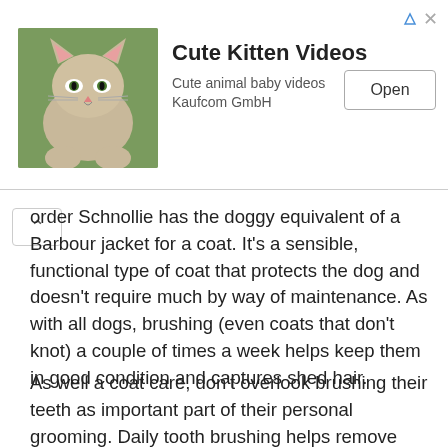[Figure (other): Advertisement banner for 'Cute Kitten Videos' app by Kaufcom GmbH, showing a kitten photo, app title, subtitle 'Cute animal baby videos Kaufcom GmbH', and an 'Open' button.]
order Schnollie has the doggy equivalent of a Barbour jacket for a coat. It's a sensible, functional type of coat that protects the dog and doesn't require much by way of maintenance. As with all dogs, brushing (even coats that don't knot) a couple of times a week helps keep them in good condition and captures shed hair.
As well a coat care, don't overlook brushing their teeth as important part of their personal grooming. Daily tooth brushing helps remove plaque before it hardens to tartar, and thus protect the teeth from gum recession and infection.